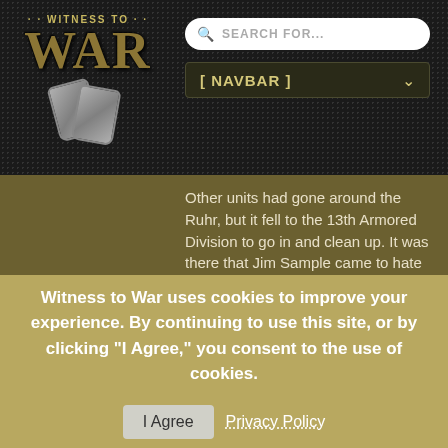WITNESS TO WAR
[Figure (logo): Witness to War logo with military dog tags and decorative war text]
[Figure (screenshot): Search bar with placeholder text SEARCH FOR...]
[Figure (screenshot): Navigation bar dropdown with [ NAVBAR ] label and dropdown arrow]
Other units had gone around the Ruhr, but it fell to the 13th Armored Division to go in and clean up. It was there that Jim Sample came to hate church steeples. They either had a sniper in them or they made for excellent artillery targeting if you were near one. He knocked his own jeep out of commission through a freak accident with a grenade.
Witness to War uses cookies to improve your experience. By continuing to use this site, or by clicking "I Agree," you consent to the use of cookies.
I Agree   Privacy Policy